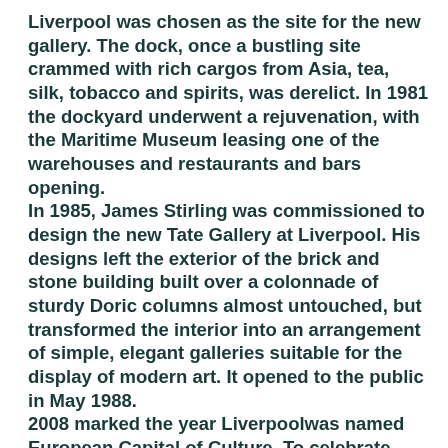Liverpool was chosen as the site for the new gallery. The dock, once a bustling site crammed with rich cargos from Asia, tea, silk, tobacco and spirits, was derelict. In 1981 the dockyard underwent a rejuvenation, with the Maritime Museum leasing one of the warehouses and restaurants and bars opening. In 1985, James Stirling was commissioned to design the new Tate Gallery at Liverpool. His designs left the exterior of the brick and stone building built over a colonnade of sturdy Doric columns almost untouched, but transformed the interior into an arrangement of simple, elegant galleries suitable for the display of modern art. It opened to the public in May 1988. 2008 marked the year Liverpoolwas named European Capital of Culture. To celebrate this, in 2007 the gallery hosted the Turner Prize, the first time the competition was held outside London.